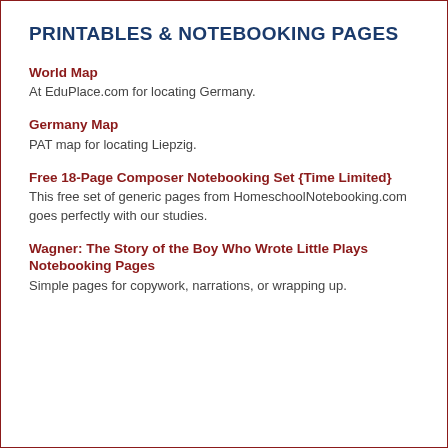PRINTABLES & NOTEBOOKING PAGES
World Map
At EduPlace.com for locating Germany.
Germany Map
PAT map for locating Liepzig.
Free 18-Page Composer Notebooking Set {Time Limited}
This free set of generic pages from HomeschoolNotebooking.com goes perfectly with our studies.
Wagner: The Story of the Boy Who Wrote Little Plays Notebooking Pages
Simple pages for copywork, narrations, or wrapping up.